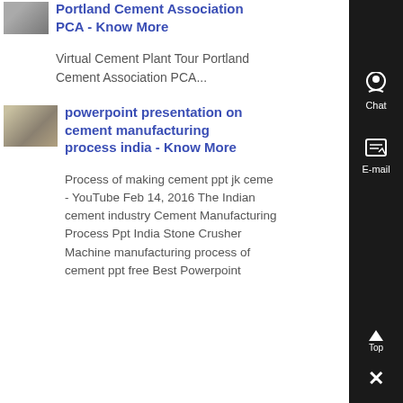[Figure (photo): Small thumbnail image of cement plant or industrial facility]
Portland Cement Association PCA - Know More
Virtual Cement Plant Tour Portland Cement Association PCA...
[Figure (photo): Thumbnail image of cement manufacturing machinery]
powerpoint presentation on cement manufacturing process india - Know More
Process of making cement ppt jk ceme - YouTube Feb 14, 2016 The Indian cement industry Cement Manufacturing Process Ppt India Stone Crusher Machine manufacturing process of cement ppt free Best Powerpoint